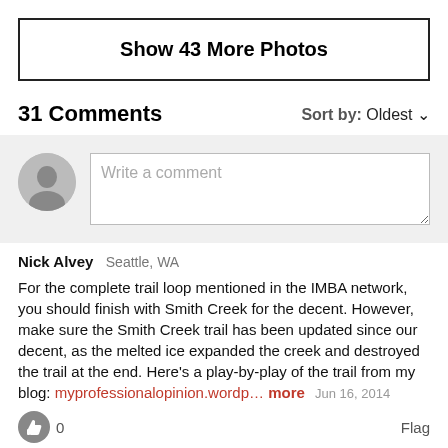Show 43 More Photos
31 Comments   Sort by: Oldest
Write a comment
Nick Alvey  Seattle, WA
For the complete trail loop mentioned in the IMBA network, you should finish with Smith Creek for the decent. However, make sure the Smith Creek trail has been updated since our decent, as the melted ice expanded the creek and destroyed the trail at the end. Here's a play-by-play of the trail from my blog: myprofessionalopinion.wordp… more  Jun 16, 2014
0   Flag
Hagen Hammons  Raleigh, NC